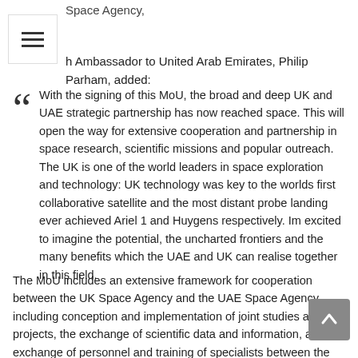Space Agency,
[Figure (other): Hamburger menu icon button (three horizontal lines) in a white box with border, top-left corner]
h Ambassador to United Arab Emirates, Philip Parham, added:
With the signing of this MoU, the broad and deep UK and UAE strategic partnership has now reached space. This will open the way for extensive cooperation and partnership in space research, scientific missions and popular outreach. The UK is one of the world leaders in space exploration and technology: UK technology was key to the worlds first collaborative satellite and the most distant probe landing ever achieved Ariel 1 and Huygens respectively. Im excited to imagine the potential, the uncharted frontiers and the many benefits which the UAE and UK can realise together in this field.
The MoU includes an extensive framework for cooperation between the UK Space Agency and the UAE Space Agency, including conception and implementation of joint studies and projects, the exchange of scientific data and information, an exchange of personnel and training of specialists between the two agencies, as well as government activities related to space policy, public outreach and human development.
[Figure (other): Scroll-to-top button: grey rounded square with upward chevron arrow, bottom-right corner]